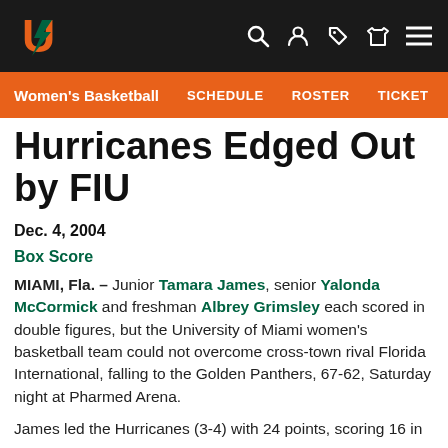[Figure (logo): University of Miami U logo in orange and green on dark background nav bar with search, user, ticket, and menu icons]
Women's Basketball   SCHEDULE   ROSTER   TICKETS
Hurricanes Edged Out by FIU
Dec. 4, 2004
Box Score
MIAMI, Fla. – Junior Tamara James, senior Yalonda McCormick and freshman Albrey Grimsley each scored in double figures, but the University of Miami women's basketball team could not overcome cross-town rival Florida International, falling to the Golden Panthers, 67-62, Saturday night at Pharmed Arena.
James led the Hurricanes (3-4) with 24 points, scoring 16 in